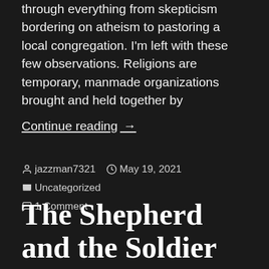through everything from skepticism bordering on atheism to pastoring a local congregation. I'm left with these few observations. Religions are temporary, manmade organizations brought and held together by
Continue reading →
jazzman7321  May 19, 2021  Uncategorized  1 Comment
The Shepherd and the Soldier